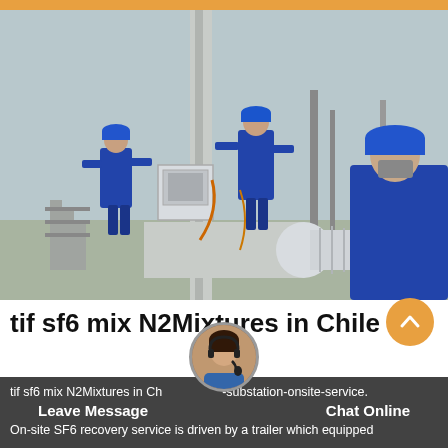[Figure (photo): Workers in blue coveralls and hard hats servicing industrial high-voltage SF6 gas equipment at a substation. Two workers are climbing on large pipe/cylinder equipment, one worker in foreground with blue hard hat watching.]
tif sf6 mix N2Mixtures in Chile
tif sf6 mix N2Mixtures in Chile-substation-onsite-service.
Leave Message                    Chat Online
On-site SF6 recovery service is driven by a trailer which equipped